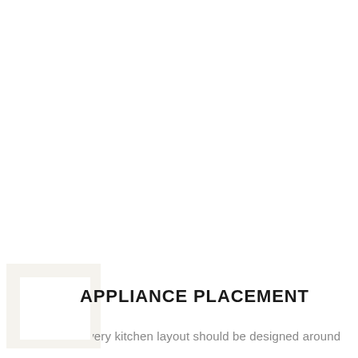APPLIANCE PLACEMENT
Every kitchen layout should be designed around